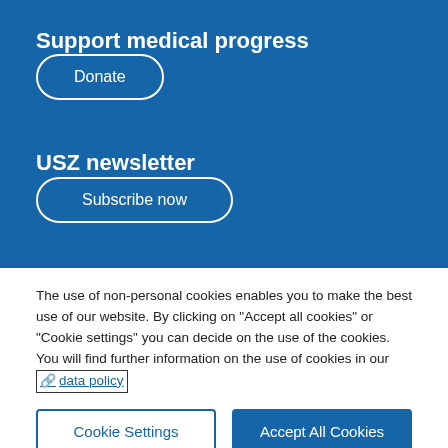Support medical progress
Donate
USZ newsletter
Subscribe now
The use of non-personal cookies enables you to make the best use of our website. By clicking on "Accept all cookies" or "Cookie settings" you can decide on the use of the cookies. You will find further information on the use of cookies in our data policy
Cookie Settings
Accept All Cookies